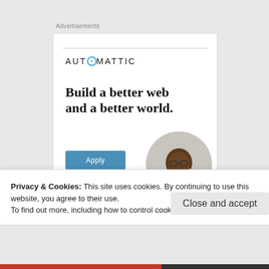Advertisements
[Figure (illustration): Automattic advertisement banner with logo, headline 'Build a better web and a better world.', Apply button, and circular photo of a person thinking at a desk]
Privacy & Cookies: This site uses cookies. By continuing to use this website, you agree to their use.
To find out more, including how to control cookies, see here: Cookie Policy
Close and accept